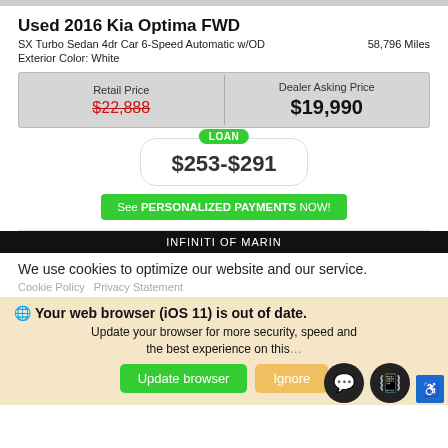Used 2016 Kia Optima FWD
SX Turbo Sedan 4dr Car 6-Speed Automatic w/OD   58,796 Miles
Exterior Color: White
| Retail Price | Dealer Asking Price |
| --- | --- |
| $22,888 (strikethrough) | $19,990 |
LOAN
$253-$291
See PERSONALIZED PAYMENTS NOW!
INFINITI OF MARIN
We use cookies to optimize our website and our service.
Cookie Policy   Privacy Statement
Your web browser (iOS 11) is out of date. Update your browser for more security, speed and the best experience on this...
Update browser   Ignore